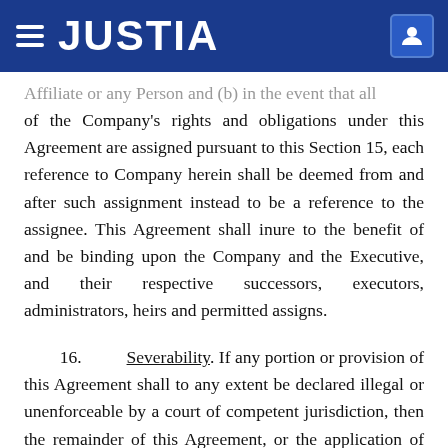JUSTIA
Affiliate or any Person and (b) in the event that all of the Company's rights and obligations under this Agreement are assigned pursuant to this Section 15, each reference to Company herein shall be deemed from and after such assignment instead to be a reference to the assignee. This Agreement shall inure to the benefit of and be binding upon the Company and the Executive, and their respective successors, executors, administrators, heirs and permitted assigns.
16. Severability. If any portion or provision of this Agreement shall to any extent be declared illegal or unenforceable by a court of competent jurisdiction, then the remainder of this Agreement, or the application of such portion or provision in circumstances other than those as to which it is so declared illegal or